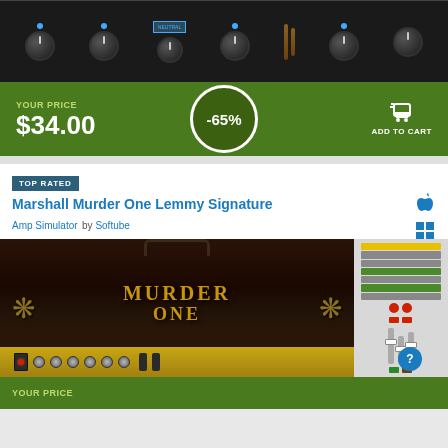[Figure (screenshot): Audio plugin interface showing a channel strip with multiple knobs and controls on a dark background]
YOUR PRICE
$34.00
-65%
ADD TO CART
TOP RATED
Marshall Murder One Lemmy Signature
Amp Simulator by Softube
[Figure (screenshot): Marshall Murder One Lemmy Signature amp simulator software interface showing the Murder One amp head and a mixer panel]
YOUR PRICE